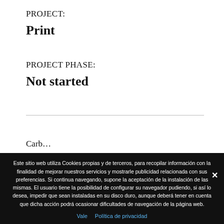PROJECT:
Print
PROJECT PHASE:
Not started
Este sitio web utiliza Cookies propias y de terceros, para recopilar información con la finalidad de mejorar nuestros servicios y mostrarle publicidad relacionada con sus preferencias. Si continua navegando, supone la aceptación de la instalación de las mismas. El usuario tiene la posibilidad de configurar su navegador pudiendo, si así lo desea, impedir que sean instaladas en su disco duro, aunque deberá tener en cuenta que dicha acción podrá ocasionar dificultades de navegación de la página web.
Vale   Política de privacidad